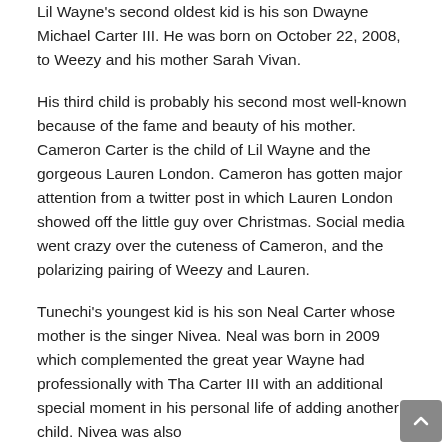Lil Wayne's second oldest kid is his son Dwayne Michael Carter III. He was born on October 22, 2008, to Weezy and his mother Sarah Vivan.
His third child is probably his second most well-known because of the fame and beauty of his mother. Cameron Carter is the child of Lil Wayne and the gorgeous Lauren London. Cameron has gotten major attention from a twitter post in which Lauren London showed off the little guy over Christmas. Social media went crazy over the cuteness of Cameron, and the polarizing pairing of Weezy and Lauren.
Tunechi's youngest kid is his son Neal Carter whose mother is the singer Nivea. Neal was born in 2009 which complemented the great year Wayne had professionally with Tha Carter III with an additional special moment in his personal life of adding another child. Nivea was also